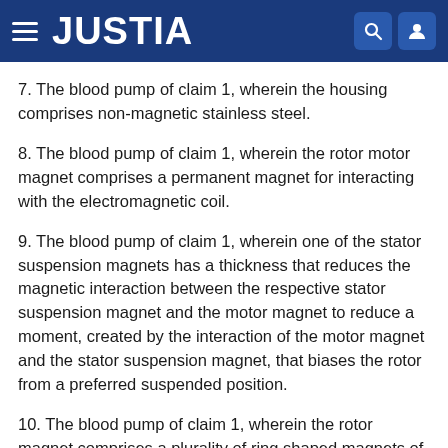JUSTIA
7. The blood pump of claim 1, wherein the housing comprises non-magnetic stainless steel.
8. The blood pump of claim 1, wherein the rotor motor magnet comprises a permanent magnet for interacting with the electromagnetic coil.
9. The blood pump of claim 1, wherein one of the stator suspension magnets has a thickness that reduces the magnetic interaction between the respective stator suspension magnet and the motor magnet to reduce a moment, created by the interaction of the motor magnet and the stator suspension magnet, that biases the rotor from a preferred suspended position.
10. The blood pump of claim 1, wherein the rotor magnet comprises a plurality of ring shaped magnets of